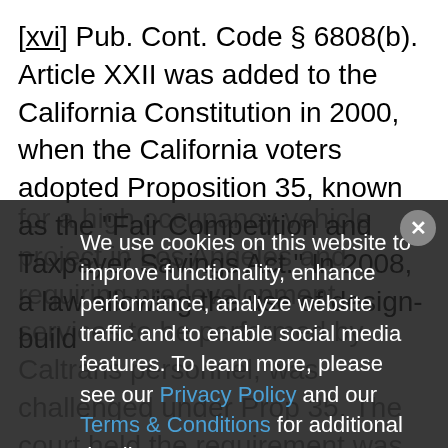[xvi] Pub. Cont. Code § 6808(b). Article XXII was added to the California Constitution in 2000, when the California voters adopted Proposition 35, known as the "Fair Competition and Taxpayer Savings Act." In 2008, a law allowing the use of design-build for a high occupancy vehicle project in Los Angeles and requiring predevelopment services to be performed by Caltrans personnel, was challenged under Prop 35. The court held the requirement was invalid. Consulting Engineers and Land Surveyors of California v. California Department of Transportation (2008) 167 Cal.App.4th 1457, 84 Cal.Rptr.3d 900.
We use cookies on this website to improve functionality, enhance performance, analyze website traffic and to enable social media features. To learn more, please see our Privacy Policy and our Terms & Conditions for additional detail.